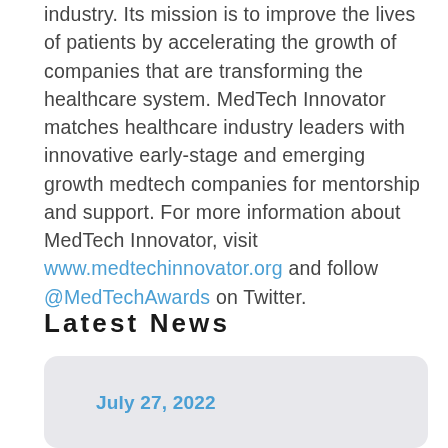industry. Its mission is to improve the lives of patients by accelerating the growth of companies that are transforming the healthcare system. MedTech Innovator matches healthcare industry leaders with innovative early-stage and emerging growth medtech companies for mentorship and support. For more information about MedTech Innovator, visit www.medtechinnovator.org and follow @MedTechAwards on Twitter.
Latest News
July 27, 2022